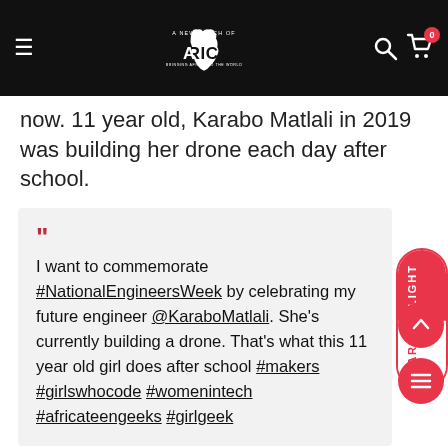A New Touch of Africa (logo) — navigation header with hamburger menu, search icon, cart icon with badge 0
now. 11 year old, Karabo Matlali in 2019 was building her drone each day after school.
“I want to commemorate #NationalEngineersWeek by celebrating my future engineer @KaraboMatlali. She’s currently building a drone. That’s what this 11 year old girl does after school #makers #girlswhocode #womenintech #africateengeeks #girlgeek